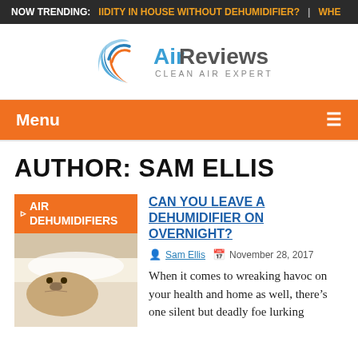NOW TRENDING: IIDITY IN HOUSE WITHOUT DEHUMIDIFIER? | WHE
[Figure (logo): Air Reviews Clean Air Expert logo with arc swoosh graphic in blue and orange]
Menu
AUTHOR: SAM ELLIS
[Figure (photo): Orange category banner reading AIR DEHUMIDIFIERS with a photo below of a pug dog sleeping on a bed]
CAN YOU LEAVE A DEHUMIDIFIER ON OVERNIGHT?
Sam Ellis   November 28, 2017
When it comes to wreaking havoc on your health and home as well, there's one silent but deadly foe lurking